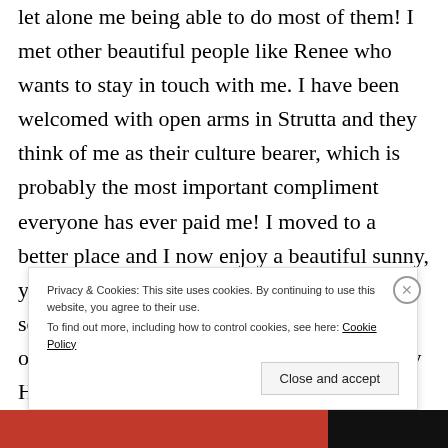let alone me being able to do most of them! I met other beautiful people like Renee who wants to stay in touch with me. I have been welcomed with open arms in Strutta and they think of me as their culture bearer, which is probably the most important compliment everyone has ever paid me! I moved to a better place and I now enjoy a beautiful sunny, yet small, apartment on the 6th floor somewhere in the Olympic Village, overlooking Vancouver with its beautiful City Hall Tower Clock. I finally said good bye to Mr. B
Privacy & Cookies: This site uses cookies. By continuing to use this website, you agree to their use. To find out more, including how to control cookies, see here: Cookie Policy
Close and accept